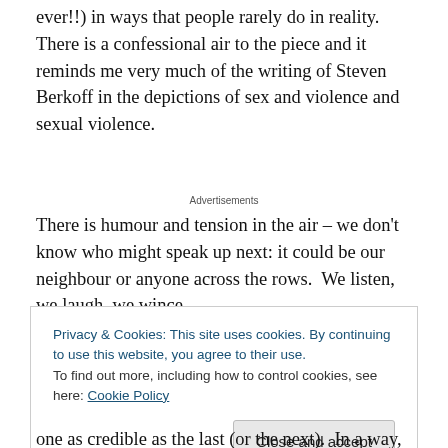ever!!) in ways that people rarely do in reality.  There is a confessional air to the piece and it reminds me very much of the writing of Steven Berkoff in the depictions of sex and violence and sexual violence.
Advertisements
There is humour and tension in the air – we don't know who might speak up next: it could be our neighbour or anyone across the rows.  We listen, we laugh, we wince,
Privacy & Cookies: This site uses cookies. By continuing to use this website, you agree to their use.
To find out more, including how to control cookies, see here: Cookie Policy
Close and accept
one as credible as the last (or the next).  In a way, the cast